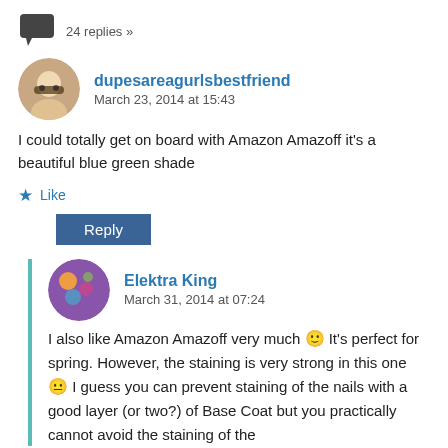24 replies »
dupesaareagurlsbestfriend
March 23, 2014 at 15:43
I could totally get on board with Amazon Amazoff it's a beautiful blue green shade
★ Like
Reply
Elektra King
March 31, 2014 at 07:24
I also like Amazon Amazoff very much 🙂 It's perfect for spring. However, the staining is very strong in this one 😐 I guess you can prevent staining of the nails with a good layer (or two?) of Base Coat but you practically cannot avoid the staining of the